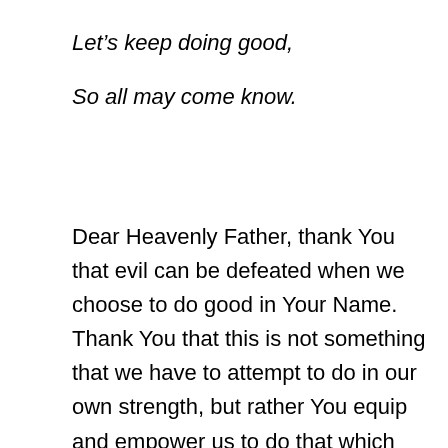Let's keep doing good,
So all may come know.
Dear Heavenly Father, thank You that evil can be defeated when we choose to do good in Your Name. Thank You that this is not something that we have to attempt to do in our own strength, but rather You equip and empower us to do that which You call us to do, so that we may overcome the darkness that would attempt to destroy us. Forgive us for thinking that we have to fight alone, or for